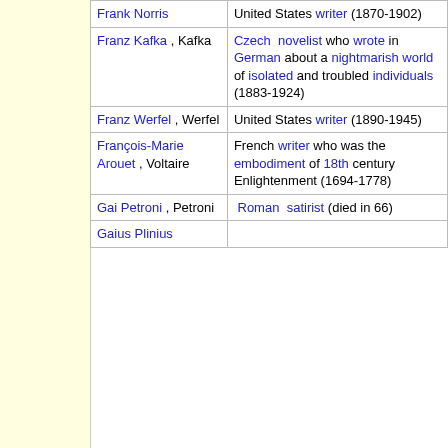| Name | Description |
| --- | --- |
| Frank Norris | United States writer (1870-1902) |
| Franz Kafka , Kafka | Czech novelist who wrote in German about a nightmarish world of isolated and troubled individuals (1883-1924) |
| Franz Werfel , Werfel | United States writer (1890-1945) |
| François-Marie Arouet , Voltaire | French writer who was the embodiment of 18th century Enlightenment (1694-1778) |
| Gai Petroni , Petroni | Roman satirist (died in 66) |
| Gaius Plinius |  |